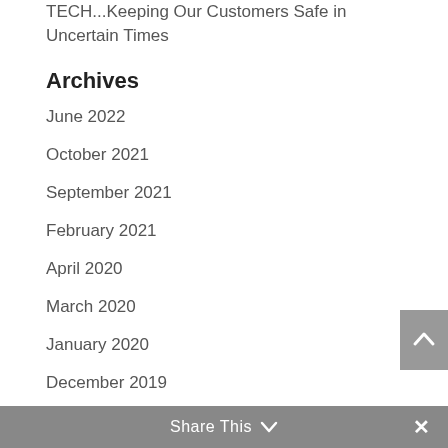TECH...Keeping Our Customers Safe in Uncertain Times
Archives
June 2022
October 2021
September 2021
February 2021
April 2020
March 2020
January 2020
December 2019
October 2019
Share This  ∨  ✕